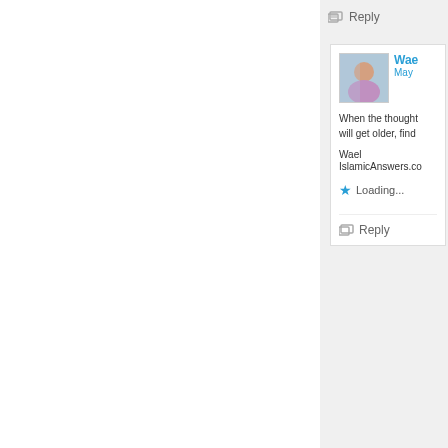Reply
[Figure (photo): User avatar photo of Wael - person sitting outdoors]
Wae...
May ...
When the thought... will get older, find ...
Wael
IslamicAnswers.co...
Loading...
Reply
[Figure (illustration): Geometric decorative avatar for Sumayyah - red and white pattern]
Sumayyah
June 17, 20...